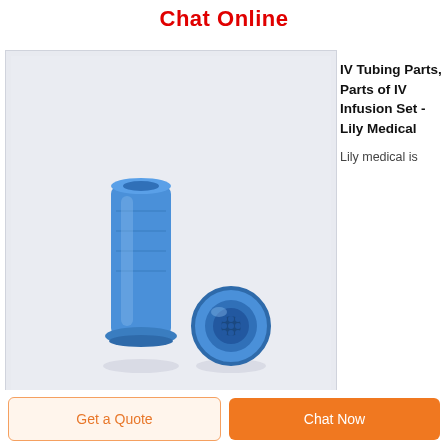Chat Online
[Figure (photo): Two blue plastic IV tubing caps/connectors — one standing upright and one laying on its side — photographed on a light lavender-grey background.]
IV Tubing Parts, Parts of IV Infusion Set - Lily Medical
Lily medical is
Get a Quote
Chat Now